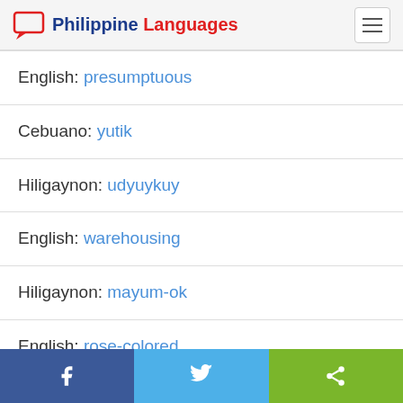Philippine Languages
English: presumptuous
Cebuano: yutik
Hiligaynon: udyuykuy
English: warehousing
Hiligaynon: mayum-ok
English: rose-colored